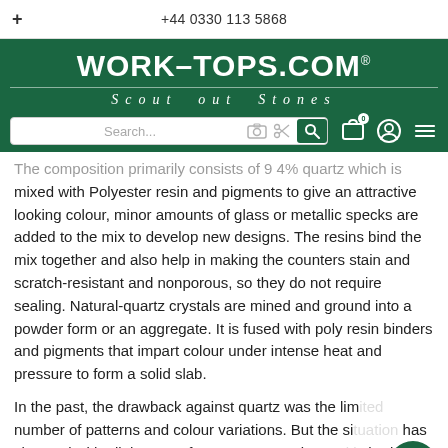+ | +44 0330 113 5868
[Figure (logo): WORK-TOPS.COM logo with tagline 'Scout out Stones' on dark green background]
[Figure (screenshot): Search bar with camera, AI, and magnifying glass icons, plus cart, user, and menu icons on green background]
The composition primarily consists of 9 4% quartz which is mixed with Polyester resin and pigments to give an attractive looking colour, minor amounts of glass or metallic specks are added to the mix to develop new designs. The resins bind the mix together and also help in making the counters stain and scratch-resistant and nonporous, so they do not require sealing. Natural-quartz crystals are mined and ground into a powder form or an aggregate. It is fused with poly resin binders and pigments that impart colour under intense heat and pressure to form a solid slab.
In the past, the drawback against quartz was the limited number of patterns and colour variations. But the situation has changed with all the manufacturers presenting multi shaded slabs with enough specks, swirls, and random